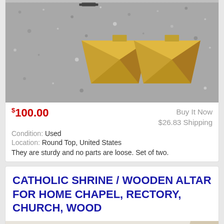[Figure (photo): Two golden/brass pyramid-shaped objects on a gravel surface, viewed from above]
$100.00
Buy It Now
$26.83 Shipping
Condition: Used
Location: Round Top, United States
They are sturdy and no parts are loose. Set of two.
CATHOLIC SHRINE / WOODEN ALTAR FOR HOME CHAPEL, RECTORY, CHURCH, WOOD
[Figure (photo): A wooden altar or church furniture piece, dark brown wood, rectangular top with pedestal base featuring recessed panels]